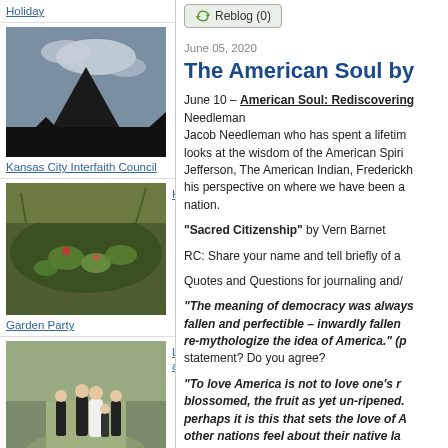Holiday
[Figure (photo): Mountain silhouette against cloudy sky]
Kansas City Interfaith Council
[Figure (photo): Garden with lily pads and plants]
KCAL
Garden Party
[Figure (photo): Wedding party walking outdoors on a path]
Lars and
Kathleen Wedding
[Figure (photo): Dark image, LCP]
LCP
[Figure (screenshot): Reblog (0) button]
June 05, 2020
The American Soul by
June 10 – American Soul: Rediscovering Needleman
Jacob Needleman who has spent a lifetime looks at the wisdom of the American Spiri Jefferson, The American Indian, Frederick his perspective on where we have been a nation.
“Sacred Citizenship” by Vern Barnet
RC: Share your name and tell briefly of a
Quotes and Questions for journaling and/
“The meaning of democracy was always fallen and perfectible – inwardly fallen re-mythologize the idea of America.” (p statement? Do you agree?
“To love America is not to love one’s r blossomed, the fruit as yet un-ripened. perhaps it is this that sets the love of A other nations feel about their native la peaceful and violent protests, what does